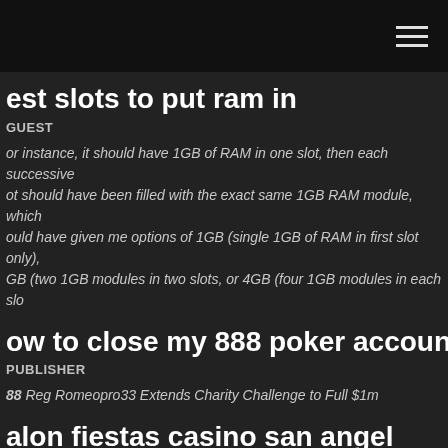est slots to put ram in
GUEST
or instance, it should have 1GB of RAM in one slot, then each successive slot should have been filled with the exact same 1GB RAM module, which ould have given me options of 1GB (single 1GB of RAM in first slot only), GB (two 1GB modules in two slots, or 4GB (four 1GB modules in each slo
ow to close my 888 poker account
PUBLISHER
88 Reg Romeopro33 Extends Charity Challenge to Full $1m
alon fiestas casino san angel
PUBLISHER